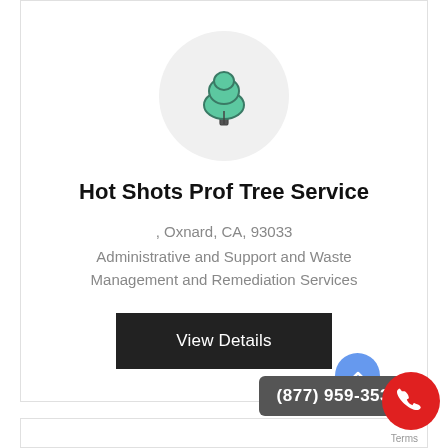[Figure (logo): Tree icon (green rounded tree shape) inside a light gray circle]
Hot Shots Prof Tree Service
, Oxnard, CA, 93033
Administrative and Support and Waste Management and Remediation Services
View Details
(877) 959-3534